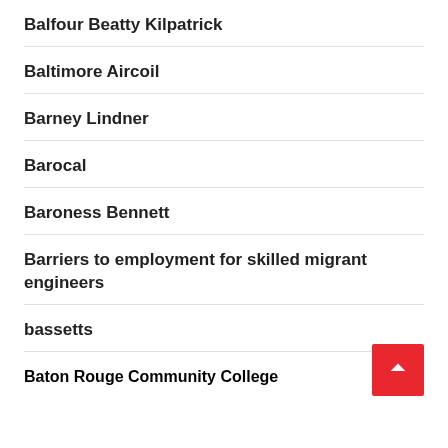Balfour Beatty Kilpatrick
Baltimore Aircoil
Barney Lindner
Barocal
Baroness Bennett
Barriers to employment for skilled migrant engineers
bassetts
Baton Rouge Community College